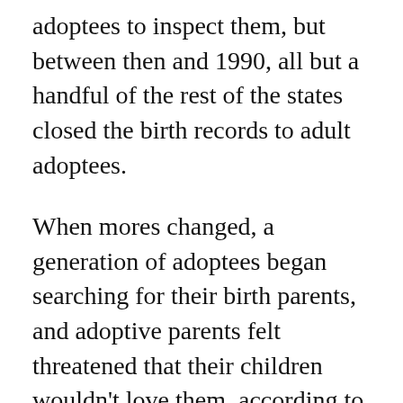adoptees to inspect them, but between then and 1990, all but a handful of the rest of the states closed the birth records to adult adoptees.
When mores changed, a generation of adoptees began searching for their birth parents, and adoptive parents felt threatened that their children wouldn't love them, according to Samuels.